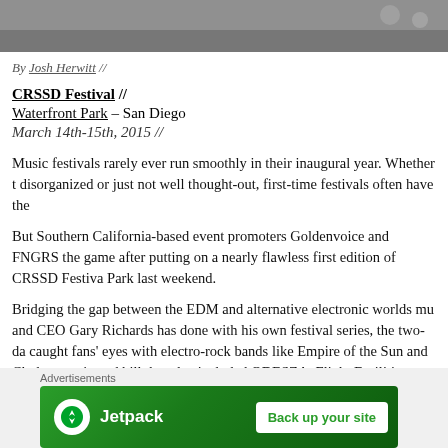[Figure (photo): Partial photo header image, cut off at top of page]
By Josh Herwitt //
CRSSD Festival //
Waterfront Park – San Diego
March 14th-15th, 2015 //
Music festivals rarely ever run smoothly in their inaugural year. Whether they're disorganized or just not well thought-out, first-time festivals often have the...
But Southern California-based event promoters Goldenvoice and FNGRS... the game after putting on a nearly flawless first edition of CRSSD Festival... Park last weekend.
Bridging the gap between the EDM and alternative electronic worlds mu... and CEO Gary Richards has done with his own festival series, the two-da... caught fans' eyes with electro-rock bands like Empire of the Sun and Chr... dance-oriented bill that also included ODESZA, Flight Facilities, Hot Natu...
[Figure (screenshot): Jetpack advertisement banner with 'Back up your site' button on green background]